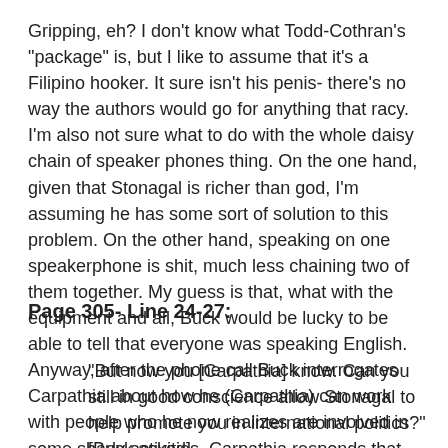Gripping, eh? I don't know what Todd-Cothran's "package" is, but I like to assume that it's a Filipino hooker. It sure isn't his penis- there's no way the authors would go for anything that racy. I'm also not sure what to do with the whole daisy chain of speaker phones thing. On the one hand, given that Stonagal is richer than god, I'm assuming he has some sort of solution to this problem. On the other hand, speaking on one speakerphone is shit, much less chaining two of them together. My guess is that, what with the equipment and all, Buck would be lucky to be able to tell that everyone was speaking English. Anyway, after the phone call Buck interrogates Carpathia about how he (Carpathia) can work with people who he now realizes are involved in some shady activities. Carpathia responds that, until now, he didn't know. Buck, as always, is sharp as a sledge hammer.
Page 305- Line 24-27:
"But now you [Carpathia] know. Can you still in good conscience allow Stonagal to help promote you in international politics?" [Buck asked]